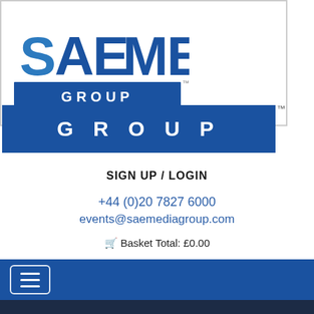[Figure (logo): SAE Media Group logo with blue text and dark blue GROUP banner]
SIGN UP / LOGIN
+44 (0)20 7827 6000
events@saemediagroup.com
Basket Total: £0.00
[Figure (screenshot): Dark blue navigation bar with hamburger menu button, and crowd photo at bottom]